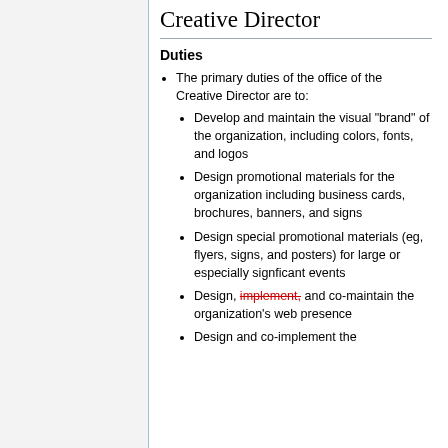Creative Director
Duties
The primary duties of the office of the Creative Director are to:
Develop and maintain the visual "brand" of the organization, including colors, fonts, and logos
Design promotional materials for the organization including business cards, brochures, banners, and signs
Design special promotional materials (eg, flyers, signs, and posters) for large or especially signficant events
Design, implement, and co-maintain the organization's web presence
Design and co-implement the